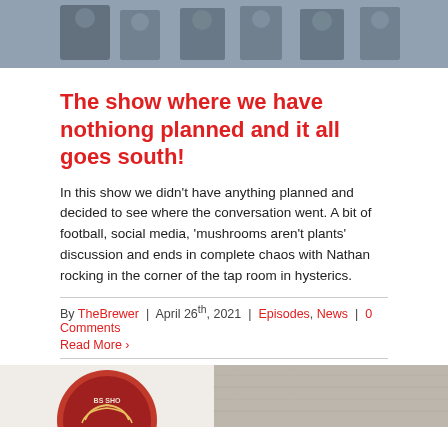[Figure (photo): Group photo of men in suits at the top of the page]
The show where we have nothiong planned and it all goes south!
In this show we didn't have anything planned and decided to see where the conversation went. A bit of football, social media, 'mushrooms aren't plants' discussion and ends in complete chaos with Nathan rocking in the corner of the tap room in hysterics.
By TheBrewer | April 26th, 2021 | Episodes, News | 0 Comments
Read More
[Figure (photo): Two partial images at the bottom: a circular logo/badge on the left and a textured image on the right]